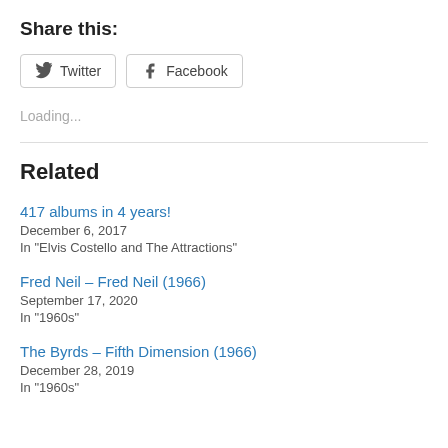Share this:
[Figure (other): Social share buttons: Twitter and Facebook]
Loading...
Related
417 albums in 4 years!
December 6, 2017
In "Elvis Costello and The Attractions"
Fred Neil – Fred Neil (1966)
September 17, 2020
In "1960s"
The Byrds – Fifth Dimension (1966)
December 28, 2019
In "1960s"